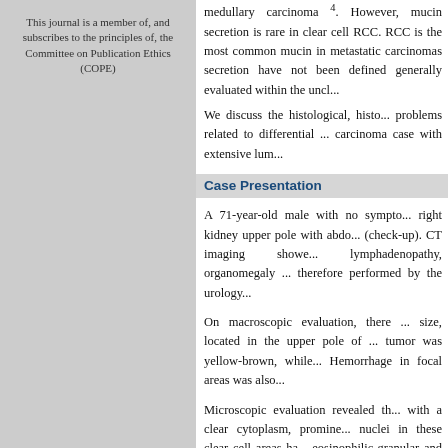This journal is a member of, and subscribes to the principles of, the Committee on Publication Ethics (COPE)
medullary carcinoma . However, mucin secretion is rare in clear cell RCC. RCC is the most common mucin in metastatic carcinomas secretion have not been defined generally evaluated within the uncl...
We discuss the histological, histo... problems related to differential ... carcinoma case with extensive lum...
Case Presentation
A 71-year-old male with no sympto... right kidney upper pole with abdo... (check-up). CT imaging showe... lymphadenopathy, organomegaly ... therefore performed by the urology...
On macroscopic evaluation, there ... size, located in the upper pole of ... tumor was yellow-brown, while... Hemorrhage in focal areas was also...
Microscopic evaluation revealed th... with a clear cytoplasm, promine... nuclei in these clear cell areas ha... eosinophilic-granular and the nucl... III). There was a definite distincti...